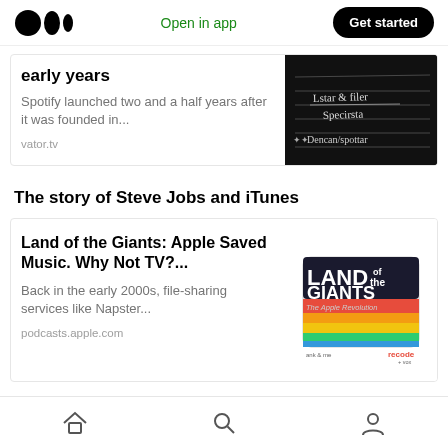Medium logo | Open in app | Get started
[Figure (screenshot): Chalk blackboard with handwritten Swedish text: 'Lstar & filer', 'Specirsta', 'Dencan/spottar']
early years
Spotify launched two and a half years after it was founded in...
vator.tv
The story of Steve Jobs and iTunes
Land of the Giants: Apple Saved Music. Why Not TV?...
Back in the early 2000s, file-sharing services like Napster...
podcasts.apple.com
[Figure (illustration): Land of the Giants: The Apple Revolution podcast cover art — colorful layered design with tablet image, recode branding]
Home | Search | Profile navigation icons